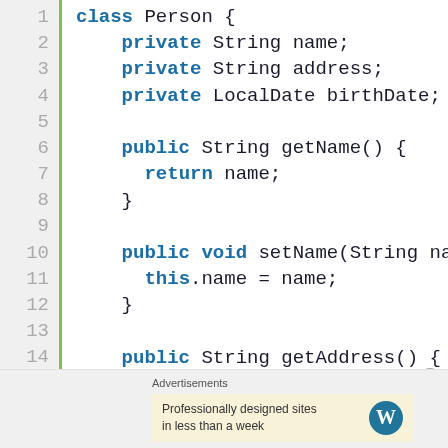[Figure (screenshot): Java source code showing a Person class with private fields (name, address, birthDate) and public getter/setter methods (getName, setName, getAddress). Code is displayed with syntax highlighting: keywords in bold blue, plain code in dark color. Line numbers 1-17 shown on the left with a green vertical bar separator.]
Advertisements
[Figure (other): Advertisement box with cream background showing WordPress logo and text: Professionally designed sites in less than a week]